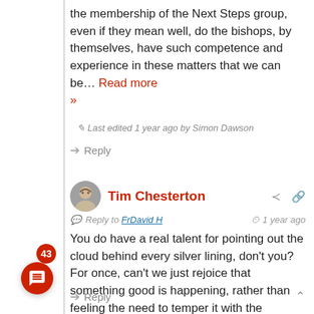the membership of the Next Steps group, even if they mean well, do the bishops, by themselves, have such competence and experience in these matters that we can be… Read more »
Last edited 1 year ago by Simon Dawson
Reply
Tim Chesterton
Reply to FrDavid H · 1 year ago
You do have a real talent for pointing out the cloud behind every silver lining, don't you? For once, can't we just rejoice that something good is happening, rather than feeling the need to temper it with the negativity and complaint that make up 90% of the comments section on TA?
Reply